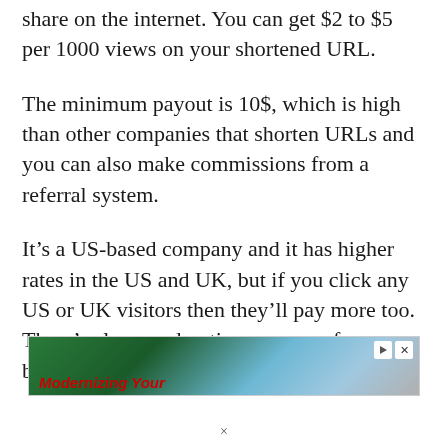share on the internet. You can get $2 to $5 per 1000 views on your shortened URL.
The minimum payout is 10$, which is high than other companies that shorten URLs and you can also make commissions from a referral system.
It's a US-based company and it has higher rates in the US and UK, but if you click any US or UK visitors then they'll pay more too. There's also an advertiser program for your blog or website
[Figure (other): Advertisement banner showing 'Modernizing Your' text with green and blue background imagery and play/close icons]
×